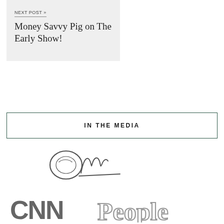NEXT POST »
Money Savvy Pig on The Early Show!
IN THE MEDIA
[Figure (logo): Oprah signature/logo in dark gray cursive]
[Figure (logo): CNN logo in bold gray block letters and People magazine logo in outline serif letters]